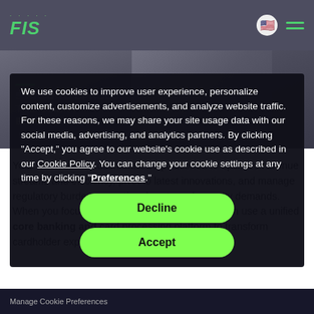[Figure (screenshot): FIS company logo with green text and dots, navigation bar with US flag icon and hamburger menu on dark grey background]
[Figure (photo): Hero image of a smiling woman looking at a laptop, darkened background with overlaid text '5 WAYS TO UPHOLD THE CLIENT EXPERIENCE']
We use cookies to improve user experience, personalize content, customize advertisements, and analyze website traffic. For these reasons, we may share your site usage data with our social media, advertising, and analytics partners. By clicking “Accept,” you agree to our website’s cookie use as described in our Cookie Policy. You can change your cookie settings at any time by clicking “Preferences.”
Decline
Accept
Your financial institution must be positioned to optimize revenue streams and efficiency, pivot to latest innovations, and manage regulatory burden, operational costs and security demands. When you focus on these three elements, you can use a unified core banking and card processing platform to transform cardholder experience and achieve objectives:
Manage Cookie Preferences